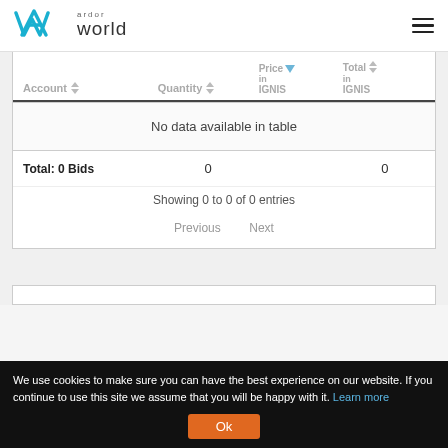ardor world
| Account | Quantity | Price in IGNIS | Total in IGNIS |
| --- | --- | --- | --- |
| No data available in table |  |  |  |
Showing 0 to 0 of 0 entries
Previous   Next
We use cookies to make sure you can have the best experience on our website. If you continue to use this site we assume that you will be happy with it. Learn more Ok